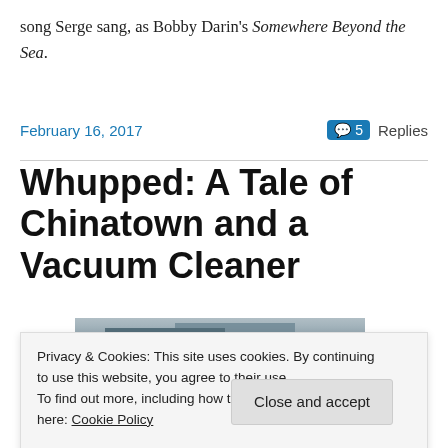song Serge sang, as Bobby Darin's Somewhere Beyond the Sea.
February 16, 2017   💬 5 Replies
Whupped: A Tale of Chinatown and a Vacuum Cleaner
[Figure (photo): Photograph of city buildings with trees in foreground]
Privacy & Cookies: This site uses cookies. By continuing to use this website, you agree to their use.
To find out more, including how to control cookies, see here: Cookie Policy
Close and accept